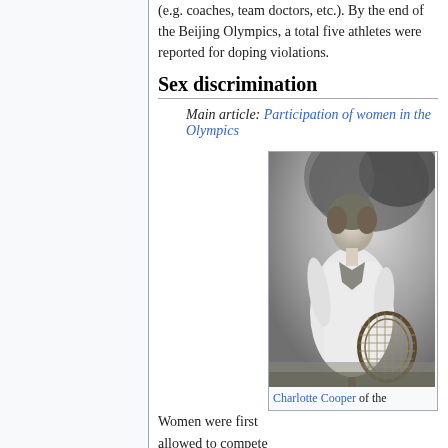(e.g. coaches, team doctors, etc.). By the end of the Beijing Olympics, a total five athletes were reported for doping violations.
Sex discrimination
Main article: Participation of women in the Olympics
Women were first allowed to compete at the 1900 Summer
[Figure (photo): Black and white photograph of Charlotte Cooper holding a tennis racket, wearing a white dress, standing outdoors.]
Charlotte Cooper of the